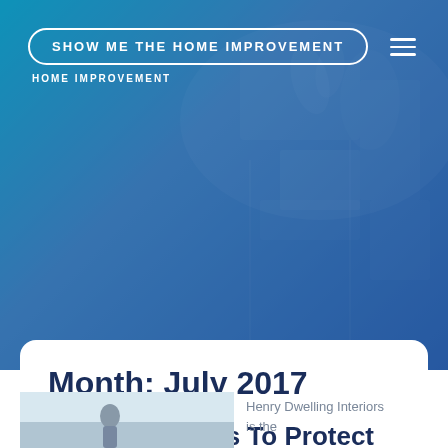SHOW ME THE HOME IMPROVEMENT · HOME IMPROVEMENT
Month: July 2017
10 Suggestions To Protect Your Residence From Termite
Michael · July 31, 2017, 2:52 pm
[Figure (photo): Photo thumbnail of a person outdoors, partially visible at bottom of page]
Henry Dwelling Interiors is the